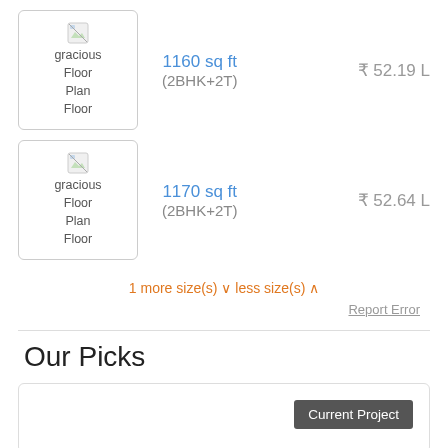[Figure (photo): Thumbnail image placeholder for gracious Floor Plan Floor - listing 1]
1160 sq ft (2BHK+2T)
₹ 52.19 L
[Figure (photo): Thumbnail image placeholder for gracious Floor Plan Floor - listing 2]
1170 sq ft (2BHK+2T)
₹ 52.64 L
1 more size(s) ∨ less size(s) ∧
Report Error
Our Picks
Current Project